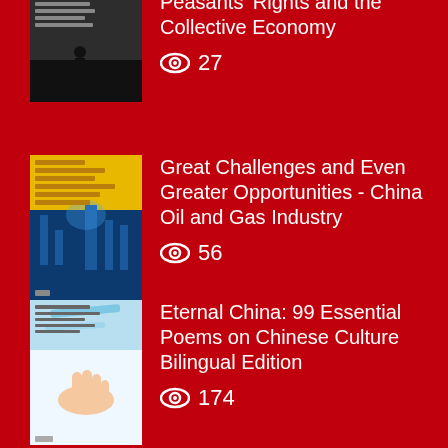[Figure (illustration): Book cover: Peasants' Rights and the Collective Economy - dark photography cover]
Peasants' Rights and the Collective Economy
27
[Figure (illustration): Book cover: Great Challenges and Even Greater Opportunities - China Oil and Gas Industry - yellow and dark blue cover]
Great Challenges and Even Greater Opportunities - China Oil and Gas Industry
56
[Figure (illustration): Book cover: Eternal China: 99 Essential Poems on Chinese Culture Bilingual Edition - light blue cover with hand]
Eternal China: 99 Essential Poems on Chinese Culture Bilingual Edition
174